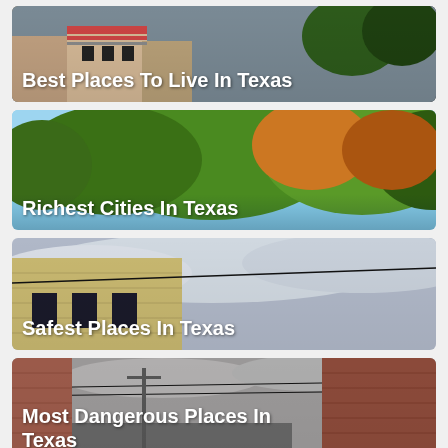[Figure (photo): Photo of Texas buildings with text overlay: Best Places To Live In Texas]
[Figure (photo): Photo of trees and blue sky with text overlay: Richest Cities In Texas]
[Figure (photo): Photo of brick building with cloudy sky with text overlay: Safest Places In Texas]
[Figure (photo): Photo of street with brick buildings with text overlay: Most Dangerous Places In Texas]